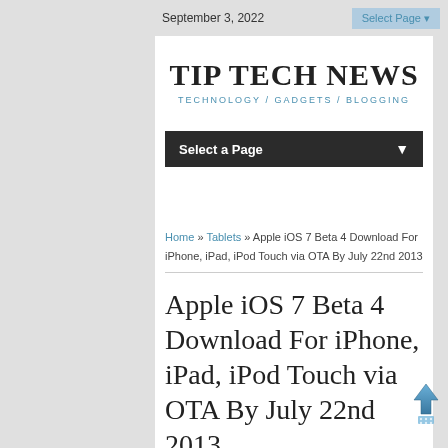September 3, 2022  Select Page
TIP TECH NEWS
TECHNOLOGY / GADGETS / BLOGGING
Select a Page
Home » Tablets » Apple iOS 7 Beta 4 Download For iPhone, iPad, iPod Touch via OTA By July 22nd 2013
Apple iOS 7 Beta 4 Download For iPhone, iPad, iPod Touch via OTA By July 22nd 2013